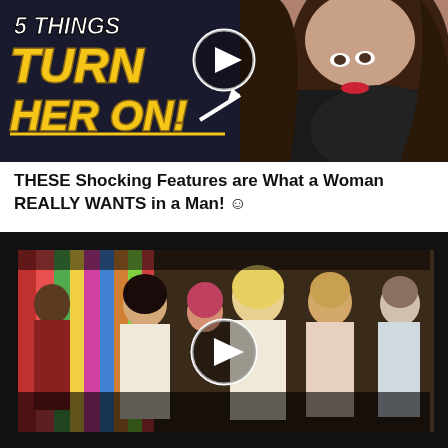[Figure (screenshot): Video thumbnail showing text '5 THINGS TURN HER ON!' in bold yellow italic letters on dark background, with a woman's face on the right side and a play button overlay]
THESE Shocking Features are What a Woman REALLY WANTS in a Man! 🙂
[Figure (screenshot): Video thumbnail showing a group of women in a colorful room with streamers in the background, play button overlay in center]